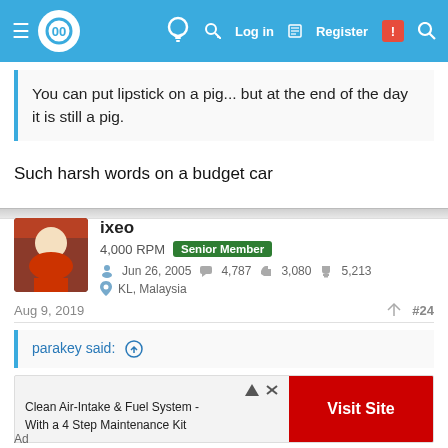Forum website header with logo and navigation: Log in, Register, Search
You can put lipstick on a pig... but at the end of the day it is still a pig.
Such harsh words on a budget car
ixeo
4,000 RPM  Senior Member
Jun 26, 2005   4,787   3,080   5,213
KL, Malaysia
Aug 9, 2019   #24
parakey said: ↑
Clean Air-Intake & Fuel System - With a 4 Step Maintenance Kit
Ad  Visit Site